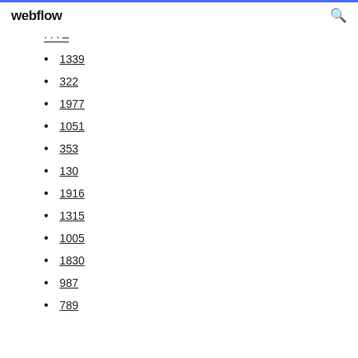webflow
1339
322
1977
1051
353
130
1916
1315
1005
1830
987
789